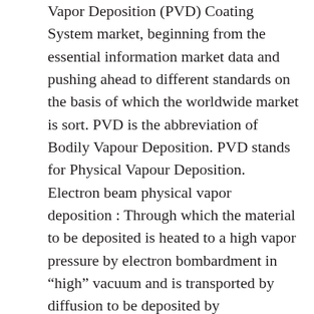Vapor Deposition (PVD) Coating System market, beginning from the essential information market data and pushing ahead to different standards on the basis of which the worldwide market is sort. PVD is the abbreviation of Bodily Vapour Deposition. PVD stands for Physical Vapour Deposition. Electron beam physical vapor deposition : Through which the material to be deposited is heated to a high vapor pressure by electron bombardment in “high” vacuum and is transported by diffusion to be deposited by condensation on the (cooler) workpiece. Owing to attributes like sturdy construction, clean operation, longer service life and corrosion resistance, these products discover utilization in various industries. four. Giant furnace cavity design (vacuum chamber size is φ1200 × H1100), and it’s outfitted with a removable low rotating stand to achieve quick furnace conversion